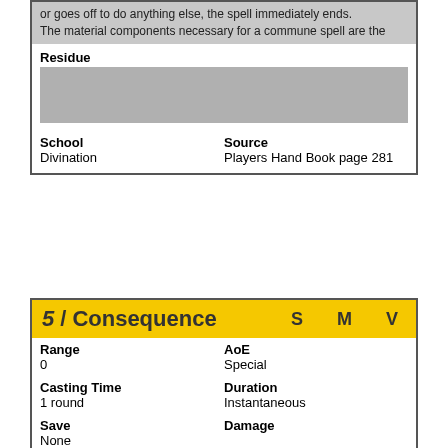or goes off to do anything else, the spell immediately ends. The material components necessary for a commune spell are the
Residue
[Figure (other): Gray placeholder image block for Residue]
School: Divination
Source: Players Hand Book page 281
5 Consequence  S M V
Range: 0
AoE: Special
Casting Time: 1 round
Duration: Instantaneous
Save: None
Damage:
Materials
This spell allows the priest to determine how one recent event fits into the "grand scheme." By casting this spell, the priest can determine whether the sequence or situation that gave rise to the specific event is complete or whether it is ongoing; whether it was a significant or insignificant event in the larger picture; or whether it will continue to have repercussions for the participants. Using his knowledge of circumstances, the DM communicates these facts to the caster's player. This "arcane message" is normally straightforward and easy to understand, but in the case of highly complex circumstances, the message might be cryptic. In any case, the message will always be truthful.